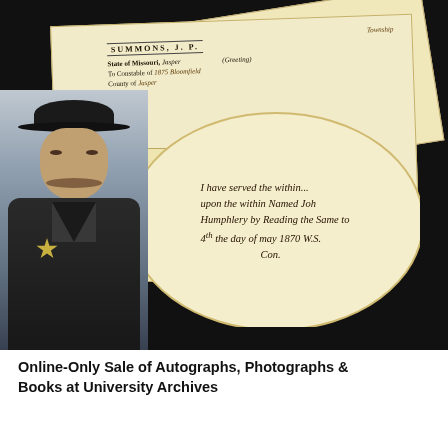[Figure (photo): Composite image on black background showing a man in a hat with a badge (resembling a historical lawman or constable figure), overlaid with antique 19th-century legal documents labeled 'SUMMONS' from the State of Missouri, and an oval-framed close-up of cursive handwritten text reading 'I have served the within... upon the within Named John Humphlery by Reading the same to... 4th the day of may 1870 W.S... Con...']
Online-Only Sale of Autographs, Photographs & Books at University Archives